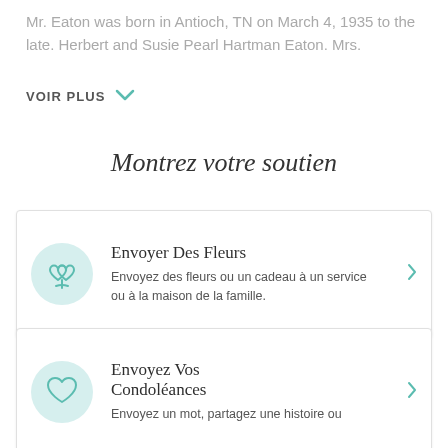Mr. Eaton was born in Antioch, TN on March 4, 1935 to the late. Herbert and Susie Pearl Hartman Eaton. Mrs.
VOIR PLUS
Montrez votre soutien
Envoyer Des Fleurs
Envoyez des fleurs ou un cadeau à un service ou à la maison de la famille.
Envoyez Vos Condoléances
Envoyez un mot, partagez une histoire ou